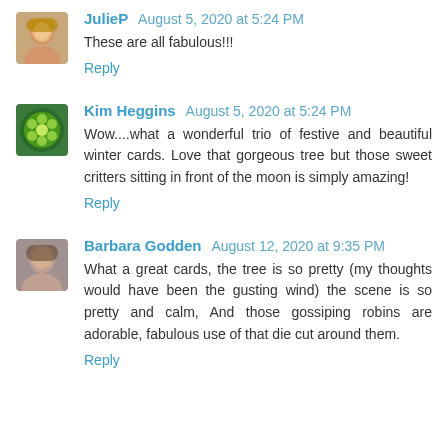JulieP  August 5, 2020 at 5:24 PM
These are all fabulous!!!
Reply
Kim Heggins  August 5, 2020 at 5:24 PM
Wow....what a wonderful trio of festive and beautiful winter cards. Love that gorgeous tree but those sweet critters sitting in front of the moon is simply amazing!
Reply
Barbara Godden  August 12, 2020 at 9:35 PM
What a great cards, the tree is so pretty (my thoughts would have been the gusting wind) the scene is so pretty and calm, And those gossiping robins are adorable, fabulous use of that die cut around them.
Reply